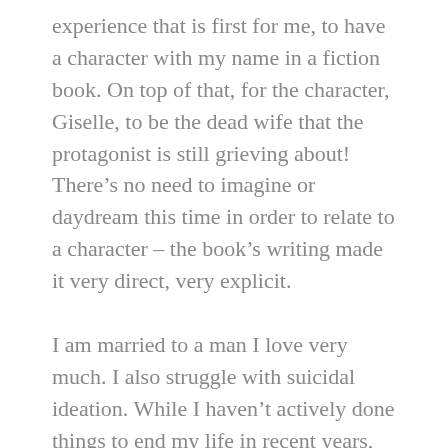experience that is first for me, to have a character with my name in a fiction book. On top of that, for the character, Giselle, to be the dead wife that the protagonist is still grieving about! There’s no need to imagine or daydream this time in order to relate to a character – the book’s writing made it very direct, very explicit.
I am married to a man I love very much. I also struggle with suicidal ideation. While I haven’t actively done things to end my life in recent years, my heart continues to feel heavy with what is described as survivor’s